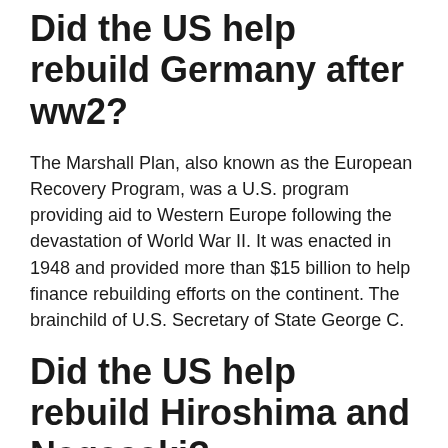Did the US help rebuild Germany after ww2?
The Marshall Plan, also known as the European Recovery Program, was a U.S. program providing aid to Western Europe following the devastation of World War II. It was enacted in 1948 and provided more than $15 billion to help finance rebuilding efforts on the continent. The brainchild of U.S. Secretary of State George C.
Did the US help rebuild Hiroshima and Nagasaki?
Hiroshima was rebuilt after the war, with help from the national government through